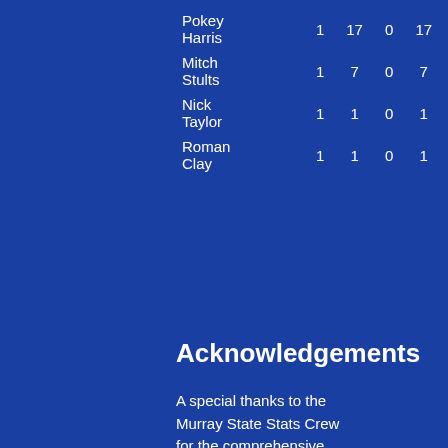| Name |  |  |  |  |
| --- | --- | --- | --- | --- |
| Pokey Harris | 1 | 17 | 0 | 17 |
| Mitch Stults | 1 | 7 | 0 | 7 |
| Nick Taylor | 1 | 1 | 0 | 1 |
| Roman Clay | 1 | 1 | 0 | 1 |
Acknowledgements
A special thanks to the Murray State Stats Crew for the comprehensive stats provided for tonight's games.
Please feel free to send your